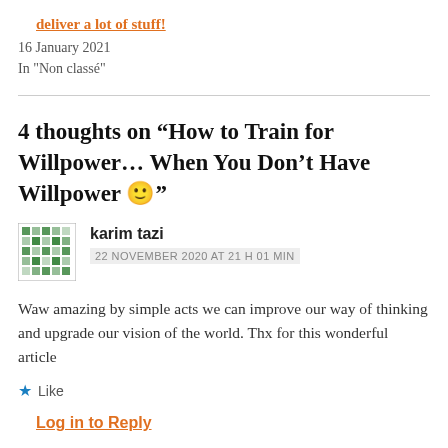deliver a lot of stuff!
16 January 2021
In "Non classé"
4 thoughts on “How to Train for Willpower… When You Don’t Have Willpower 🙂”
karim tazi
22 NOVEMBER 2020 AT 21 H 01 MIN
Waw amazing by simple acts we can improve our way of thinking and upgrade our vision of the world. Thx for this wonderful article
Like
Log in to Reply